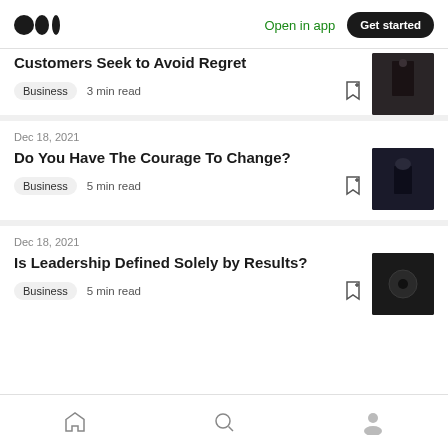Medium logo | Open in app | Get started
Customers Seek to Avoid Regret
Business · 3 min read
Dec 18, 2021
Do You Have The Courage To Change?
Business · 5 min read
Dec 18, 2021
Is Leadership Defined Solely by Results?
Business · 5 min read
Home | Search | Profile